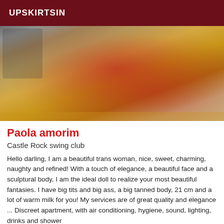UPSKIRTSIN
[Figure (photo): A person in red lingerie and red fishnet stockings with red high heels posing on a yellow kitchen counter]
Paola amorim
Castle Rock swing club
Hello darling, I am a beautiful trans woman, nice, sweet, charming, naughty and refined! With a touch of elegance, a beautiful face and a sculptural body, I am the ideal doll to realize your most beautiful fantasies. I have big tits and big ass, a big tanned body, 21 cm and a lot of warm milk for you! My services are of great quality and elegance ... Discreet apartment, with air conditioning, hygiene, sound, lighting, drinks and shower